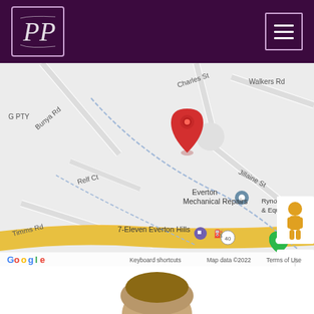[Figure (logo): PP script logo in white on dark purple background inside a light purple border box]
[Figure (map): Google Maps screenshot showing Everton Hills area with a red location pin on Jillaine St, showing streets: Charles St, Bunya Rd, Relf Ct, Timms Rd, Walkers Rd; nearby places: Everton Mechanical Repairs, Ryno Hire Machinery & Equipment, 7-Eleven Everton Hills, Christmas Hills area. Map controls visible: street view person icon, zoom in (+) and zoom out (-). Google logo and footer text visible.]